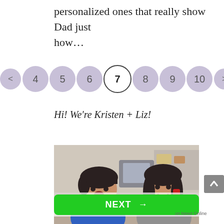personalized ones that really show Dad just how...
[Figure (other): Pagination bar with circles numbered 4-10, with 7 highlighted as active page, and left/right arrows]
Hi! We're Kristen + Liz!
[Figure (photo): Two women in a studio/office setting, one with short dark hair wearing blue, one with long dark hair, both appear excited]
NEXT →
on Newz Online